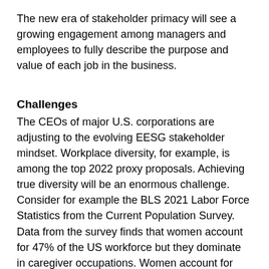The new era of stakeholder primacy will see a growing engagement among managers and employees to fully describe the purpose and value of each job in the business.
Challenges
The CEOs of major U.S. corporations are adjusting to the evolving EESG stakeholder mindset. Workplace diversity, for example, is among the top 2022 proxy proposals. Achieving true diversity will be an enormous challenge. Consider for example the BLS 2021 Labor Force Statistics from the Current Population Survey. Data from the survey finds that women account for 47% of the US workforce but they dominate in caregiver occupations. Women account for 96.8% of preschool and kindergarten teachers, 94.6% of childcare workers, 91.1% of medical assistants, and 86.7% of RNs. Women, however, scarcely populate